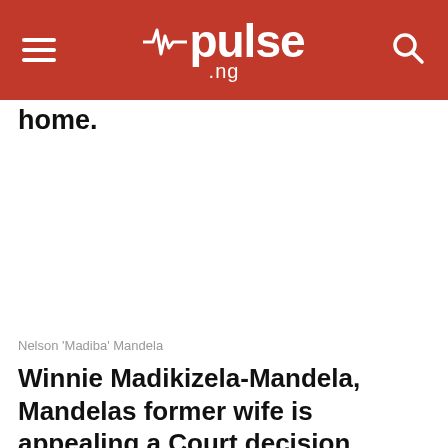pulse .ng
home.
Nelson 'Madiba' Mandela
Winnie Madikizela-Mandela, Mandelas former wife is appealing a Court decision which stipulated that she has no claim on the residence where Nelson Mandela was